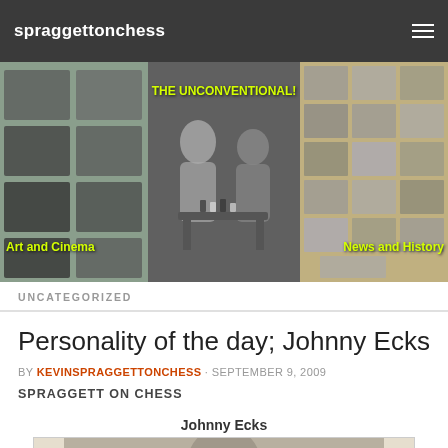spraggettonchess
[Figure (photo): Website banner with three panels: left panel shows black-and-white film/art photos labeled 'Art and Cinema', center panel shows two people playing chess labeled 'THE UNCONVENTIONAL!', right panel shows historical newspaper collage labeled 'News and History']
UNCATEGORIZED
Personality of the day; Johnny Ecks
BY KEVINSPRAGGETTONCHESS · SEPTEMBER 9, 2009
SPRAGGETT ON CHESS
Johnny Ecks
[Figure (photo): Black-and-white portrait photograph of Johnny Ecks]